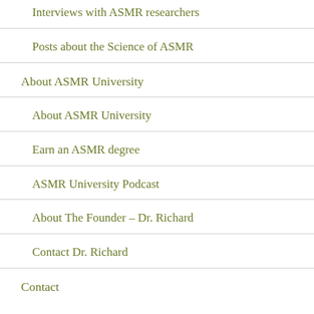Interviews with ASMR researchers
Posts about the Science of ASMR
About ASMR University
About ASMR University
Earn an ASMR degree
ASMR University Podcast
About The Founder – Dr. Richard
Contact Dr. Richard
Contact